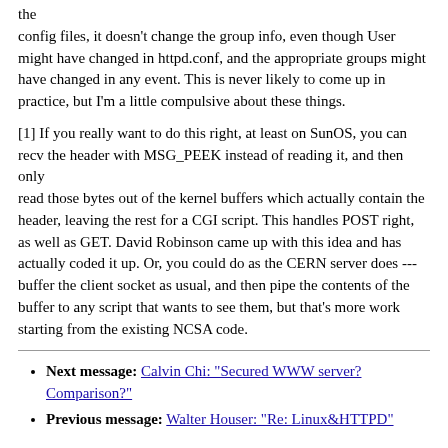the config files, it doesn't change the group info, even though User might have changed in httpd.conf, and the appropriate groups might have changed in any event. This is never likely to come up in practice, but I'm a little compulsive about these things.
[1] If you really want to do this right, at least on SunOS, you can recv the header with MSG_PEEK instead of reading it, and then only read those bytes out of the kernel buffers which actually contain the header, leaving the rest for a CGI script. This handles POST right, as well as GET. David Robinson came up with this idea and has actually coded it up. Or, you could do as the CERN server does --- buffer the client socket as usual, and then pipe the contents of the buffer to any script that wants to see them, but that's more work starting from the existing NCSA code.
Next message: Calvin Chi: "Secured WWW server? Comparison?"
Previous message: Walter Houser: "Re: Linux&HTTPD"